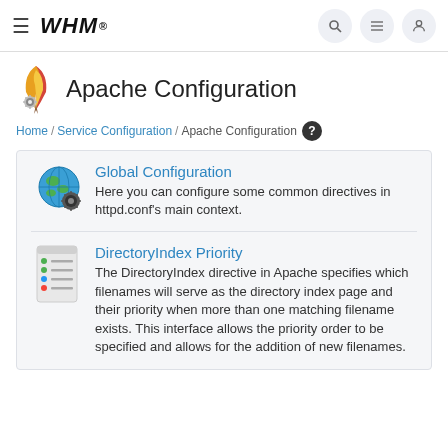WHM
Apache Configuration
Home / Service Configuration / Apache Configuration
Global Configuration
Here you can configure some common directives in httpd.conf's main context.
DirectoryIndex Priority
The DirectoryIndex directive in Apache specifies which filenames will serve as the directory index page and their priority when more than one matching filename exists. This interface allows the priority order to be specified and allows for the addition of new filenames.